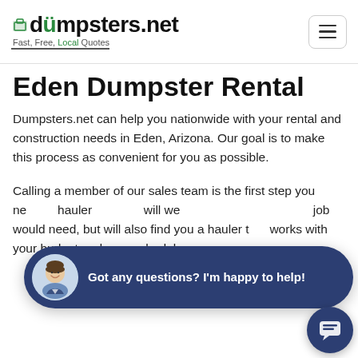dumpsters.net — Fast, Free, Local Quotes
Eden Dumpster Rental
Dumpsters.net can help you nationwide with your rental and construction needs in Eden, Arizona. Our goal is to make this process as convenient for you as possible.
Calling a member of our sales team is the first step you ne... hauler... will we... job would need, but will also find you a hauler t... works with your budget and your schedule.
[Figure (screenshot): Chat popup overlay with avatar of smiling man and text: Got any questions? I'm happy to help!, and a chat bubble button at bottom right]